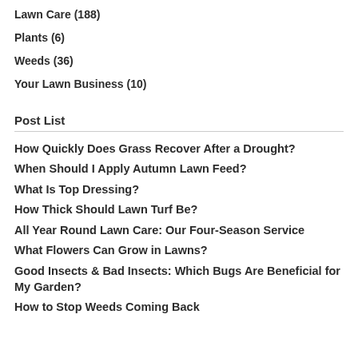Lawn Care (188)
Plants (6)
Weeds (36)
Your Lawn Business (10)
Post List
How Quickly Does Grass Recover After a Drought?
When Should I Apply Autumn Lawn Feed?
What Is Top Dressing?
How Thick Should Lawn Turf Be?
All Year Round Lawn Care: Our Four-Season Service
What Flowers Can Grow in Lawns?
Good Insects & Bad Insects: Which Bugs Are Beneficial for My Garden?
How to Stop Weeds Coming Back